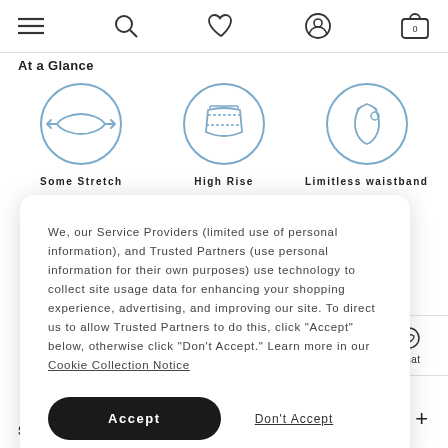[Figure (screenshot): E-commerce website navigation bar with hamburger menu, search, heart/wishlist, account, and cart (0) icons]
At a Glance
[Figure (infographic): Three circular icons: Some Stretch (arrow icon), High Rise (waistband measurement icon), Limitless waistband (waistband detail icon)]
We, our Service Providers (limited use of personal information), and Trusted Partners (use personal information for their own purposes) use technology to collect site usage data for enhancing your shopping experience, advertising, and improving our site. To direct us to allow Trusted Partners to do this, click “Accept” below, otherwise click “Don’t Accept.” Learn more in our Cookie Collection Notice
Accept
Don't Accept